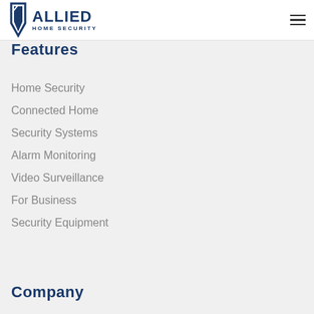Allied Home Security
Features
Home Security
Connected Home
Security Systems
Alarm Monitoring
Video Surveillance
For Business
Security Equipment
Company